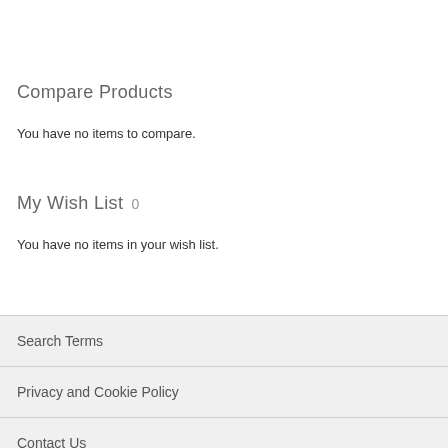Compare Products
You have no items to compare.
My Wish List 0
You have no items in your wish list.
Search Terms
Privacy and Cookie Policy
Contact Us